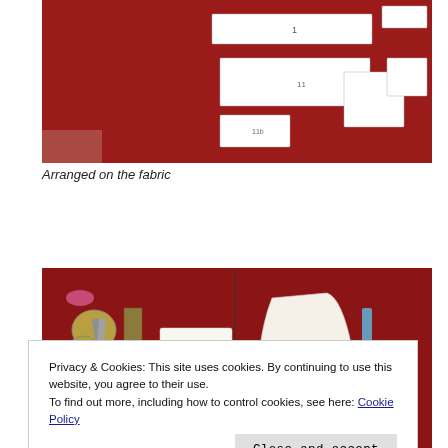[Figure (photo): Sewing pattern pieces arranged on red fabric laid flat on a floor, showing multiple white paper pattern pieces numbered and spread out.]
Arranged on the fabric
[Figure (photo): Two photos side by side: left shows scissors, ruler and sewing tools with pattern piece number 1 on red fabric; right shows pattern piece number 4 on red fabric with a marking tool.]
Privacy & Cookies: This site uses cookies. By continuing to use this website, you agree to their use.
To find out more, including how to control cookies, see here: Cookie Policy
Close and accept